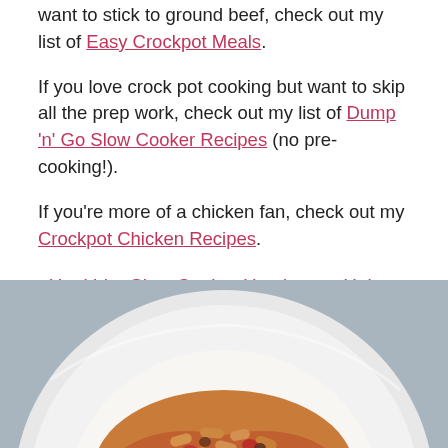want to stick to ground beef, check out my list of Easy Crockpot Meals.
If you love crock pot cooking but want to skip all the prep work, check out my list of Dump 'n' Go Slow Cooker Recipes (no pre-cooking!).
If you're more of a chicken fan, check out my Crockpot Chicken Recipes.
Healthier Slow Cooker Hamburger Helper
[Figure (photo): A white ceramic plate with macaroni pasta in a tomato and meat sauce, styled on a light blue background]